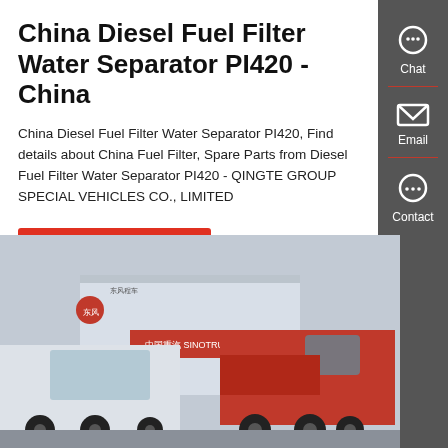China Diesel Fuel Filter Water Separator PI420 - China
China Diesel Fuel Filter Water Separator PI420, Find details about China Fuel Filter, Spare Parts from Diesel Fuel Filter Water Separator PI420 - QINGTE GROUP SPECIAL VEHICLES CO., LIMITED
GET A QUOTE
[Figure (photo): Photo of red and white heavy trucks parked at a dealership with Chinese signage including Sinotruk branding. A red cab-over truck is prominently shown in the foreground.]